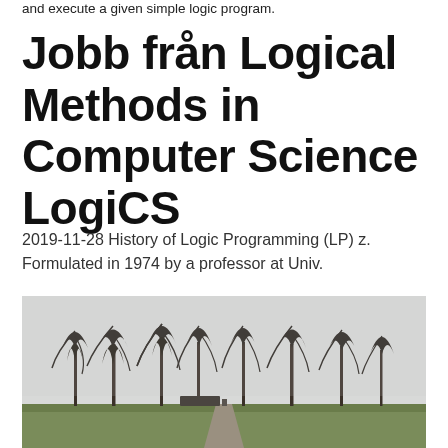and execute a given simple logic program.
Jobb från Logical Methods in Computer Science LogiCS
2019-11-28 History of Logic Programming (LP) z. Formulated in 1974 by a professor at Univ.
[Figure (photo): Outdoor photo showing a row of bare winter trees on a grassy field with a path leading through the center, overcast sky in the background.]